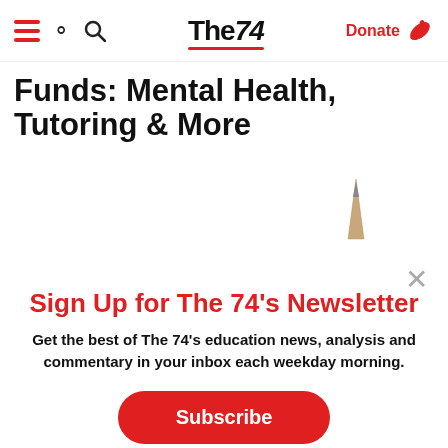The74 — Donate
Funds: Mental Health, Tutoring & More
[Figure (photo): Pencil tip pointing up with a red horizontal bar below it]
Sign Up for The 74's Newsletter
Get the best of The 74's education news, analysis and commentary in your inbox each weekday morning.
Subscribe